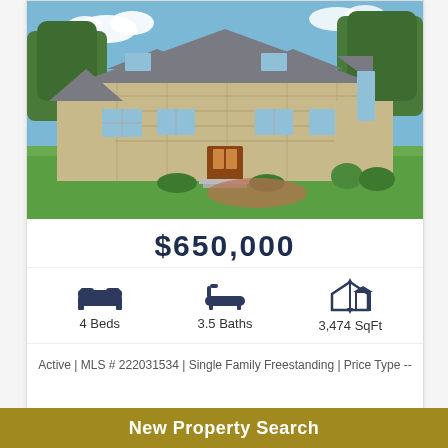[Figure (photo): Aerial/elevated view of a large stone and shingle two-story home with a green lawn, trees in background, and blue sky.]
$650,000
4 Beds
3.5 Baths
3,474 SqFt
Active | MLS # 222031534 | Single Family Freestanding | Price Type --
New Property Search